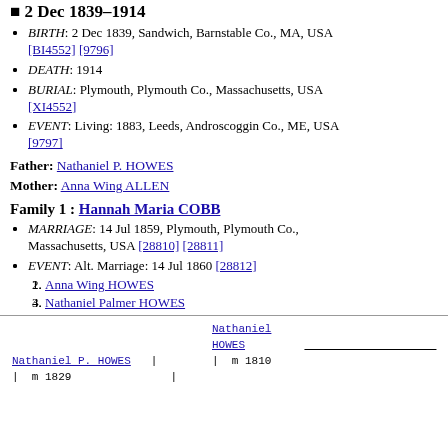2 Dec 1839–1914
BIRTH: 2 Dec 1839, Sandwich, Barnstable Co., MA, USA [BI4552] [9796]
DEATH: 1914
BURIAL: Plymouth, Plymouth Co., Massachusetts, USA [XI4552]
EVENT: Living: 1883, Leeds, Androscoggin Co., ME, USA [9797]
Father: Nathaniel P. HOWES
Mother: Anna Wing ALLEN
Family 1 : Hannah Maria COBB
MARRIAGE: 14 Jul 1859, Plymouth, Plymouth Co., Massachusetts, USA [28810] [28811]
EVENT: Alt. Marriage: 14 Jul 1860 [28812]
1. Anna Wing HOWES
2. Nathaniel Palmer HOWES
[Figure (other): Genealogy tree diagram showing Nathaniel HOWES (m 1810), Nathaniel P. HOWES (m 1829)]